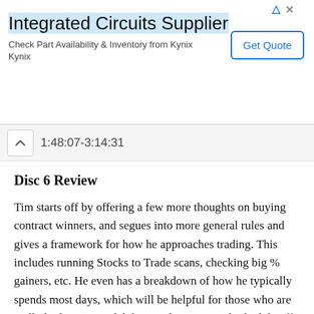[Figure (other): Advertisement banner for Integrated Circuits Supplier (Kynix) with a 'Get Quote' button]
1:48:07-3:14:31
Disc 6 Review
Tim starts off by offering a few more thoughts on buying contract winners, and segues into more general rules and gives a framework for how he approaches trading. This includes running Stocks to Trade scans, checking big % gainers, etc. He even has a breakdown of how he typically spends most days, which will be helpful for those who are really looking to model their trade timing and schedule off of him.
The second section focuses more on short selling,